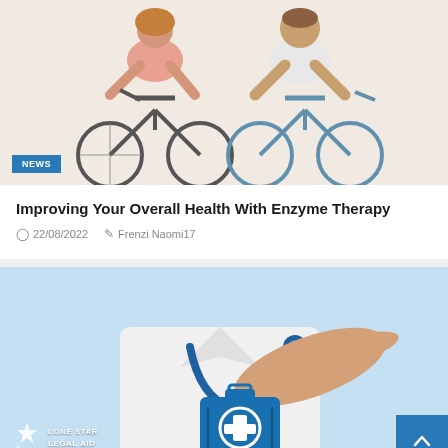[Figure (photo): Two elderly people riding bicycles, casual outdoor setting, white background]
Improving Your Overall Health With Enzyme Therapy
22/08/2022   Frenzi Naomi17
[Figure (photo): Doctor in white coat with stethoscope, hand extended over a blue medical kit icon, Lone Star Legal Aid logo in corner]